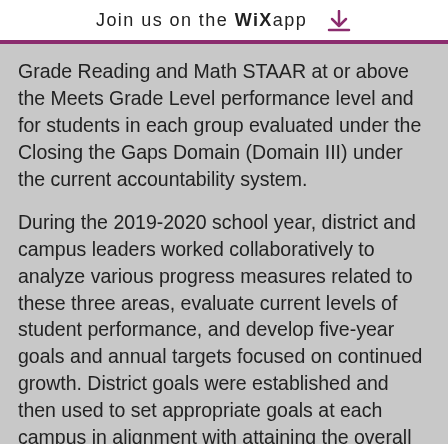Join us on the WiX app ⬇
Grade Reading and Math STAAR at or above the Meets Grade Level performance level and for students in each group evaluated under the Closing the Gaps Domain (Domain III) under the current accountability system.
During the 2019-2020 school year, district and campus leaders worked collaboratively to analyze various progress measures related to these three areas, evaluate current levels of student performance, and develop five-year goals and annual targets focused on continued growth. District goals were established and then used to set appropriate goals at each campus in alignment with attaining the overall district goals. These goals will be embedded within the District Improvement Plan and Campus